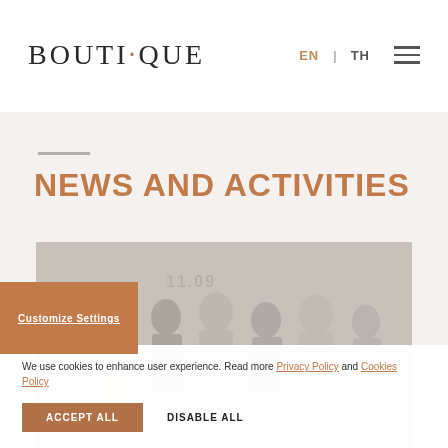BOUTIQUE — EN | TH
NEWS AND ACTIVITIES
[Figure (screenshot): Website screenshot showing a news and activities section with a group photo of people in business attire]
We use cookies to enhance user experience. Read more Privacy Policy and Cookies Policy
Customize Settings
ACCEPT ALL
DISABLE ALL